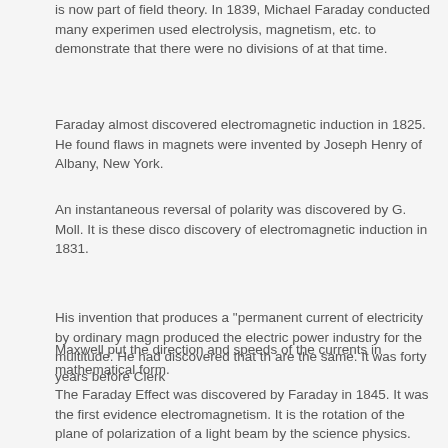is now part of field theory. In 1839, Michael Faraday conducted many experiments and used electrolysis, magnetism, etc. to demonstrate that there were no divisions of at that time.
Faraday almost discovered electromagnetic induction in 1825. He found flaws in magnets were invented by Joseph Henry of Albany, New York.
An instantaneous reversal of polarity was discovered by G. Moll. It is these discovery of electromagnetic induction in 1831.
His invention that produces a "permanent current of electricity by ordinary magn produced the electric power industry for the multitude. He had discovered that are the same. It was forty years before Clerk
Maxwell put the direction and speeds of the currents in mathematical form.
The Faraday Effect was discovered by Faraday in 1845. It was the first evidence electromagnetism. It is the rotation of the plane of polarization of a light beam the science physics. Faraday discovered it while studying the properties of a ma waves.